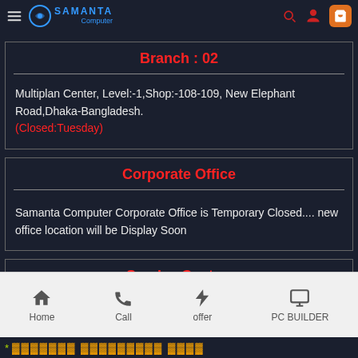Samanta Computer
Branch : 02
Multiplan Center, Level:-1,Shop:-108-109, New Elephant Road,Dhaka-Bangladesh.
(Closed:Tuesday)
Corporate Office
Samanta Computer Corporate Office is Temporary Closed.... new office location will be Display Soon
Service Center:
Home  Call  offer  PC BUILDER